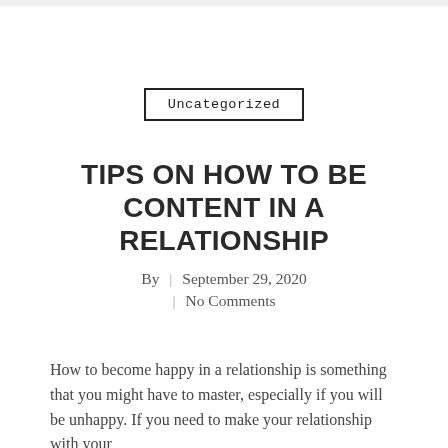Uncategorized
TIPS ON HOW TO BE CONTENT IN A RELATIONSHIP
By | September 29, 2020 | No Comments
How to become happy in a relationship is something that you might have to master, especially if you will be unhappy. If you need to make your relationship with your